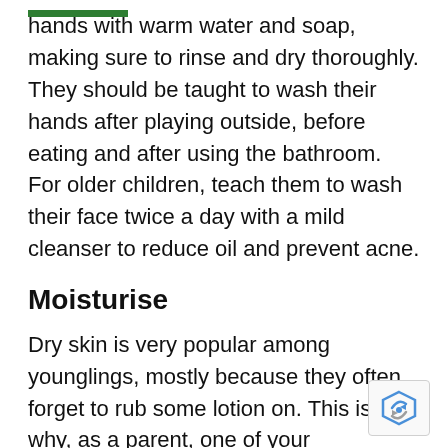hands with warm water and soap, making sure to rinse and dry thoroughly. They should be taught to wash their hands after playing outside, before eating and after using the bathroom. For older children, teach them to wash their face twice a day with a mild cleanser to reduce oil and prevent acne.
Moisturise
Dry skin is very popular among younglings, mostly because they often forget to rub some lotion on. This is why, as a parent, one of your responsibilities is to ensure your child's skin stays moisturised all the time.
Choose a moisturiser free from parabens, phthalates, dyes, GMOs, sulfates, and